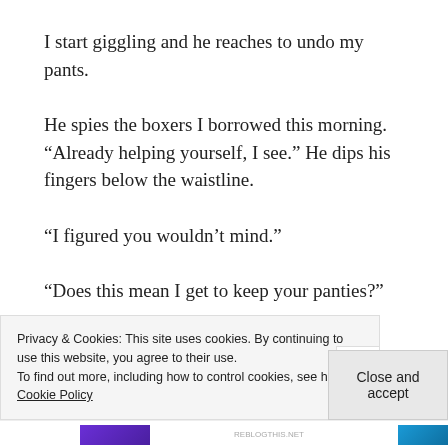I start giggling and he reaches to undo my pants.
He spies the boxers I borrowed this morning. “Already helping yourself, I see.” He dips his fingers below the waistline.
“I figured you wouldn’t mind.”
“Does this mean I get to keep your panties?”
I swat at him, giggling. “Pervert.”
Privacy & Cookies: This site uses cookies. By continuing to use this website, you agree to their use.
To find out more, including how to control cookies, see here: Cookie Policy
Close and accept